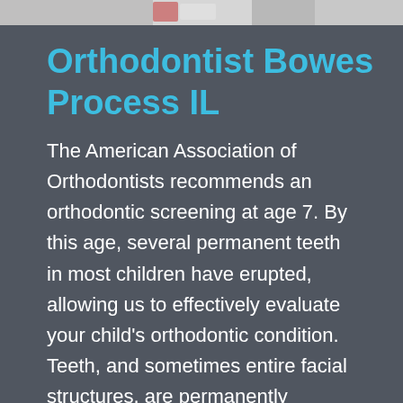[Figure (photo): Partial top strip showing people's faces/shoulders cropped at top of page]
Orthodontist Bowes Process IL
The American Association of Orthodontists recommends an orthodontic screening at age 7. By this age, several permanent teeth in most children have erupted, allowing us to effectively evaluate your child's orthodontic condition. Teeth, and sometimes entire facial structures, are permanently changed by orthodontic treatment. It is important that the treatment be appropriate and properly completed. Orthodontic specialists have extensive and specialized training